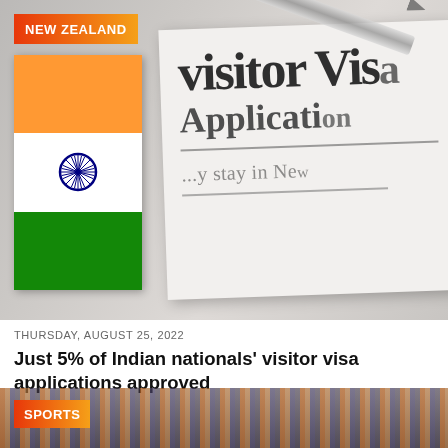[Figure (photo): Photo showing Indian flag on the left and a 'Visitor Visa Application' document on the right, with a pen visible at the top. A red-orange gradient badge reads 'NEW ZEALAND' in the top-left corner.]
THURSDAY, AUGUST 25, 2022
Just 5% of Indian nationals' visitor visa applications approved
[Figure (photo): Partial photo of a sports scene with crowd in orange and blue colors. A red-orange gradient badge reads 'SPORTS' in the bottom-left corner.]